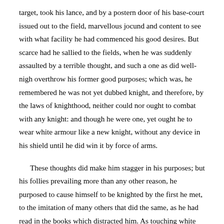target, took his lance, and by a postern door of his base-court issued out to the field, marvellous jocund and content to see with what facility he had commenced his good desires. But scarce had he sallied to the fields, when he was suddenly assaulted by a terrible thought, and such a one as did well-nigh overthrow his former good purposes; which was, he remembered he was not yet dubbed knight, and therefore, by the laws of knighthood, neither could nor ought to combat with any knight: and though he were one, yet ought he to wear white armour like a new knight, without any device in his shield until he did win it by force of arms.
These thoughts did make him stagger in his purposes; but his follies prevailing more than any other reason, he purposed to cause himself to be knighted by the first he met, to the imitation of many others that did the same, as he had read in the books which distracted him. As touching white armour, he resolved, with the first opportunity, to scour